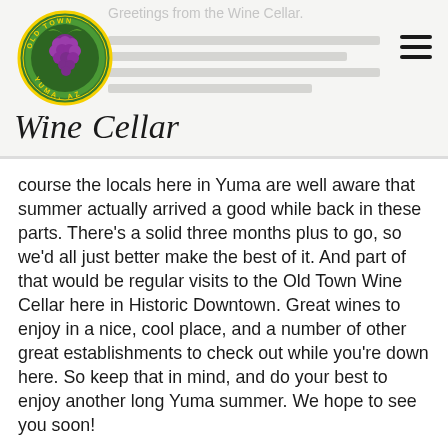Greetings from the Wine Cellar.
[Figure (logo): Old Town Wine Cellar logo: circular green badge with grape cluster and 'Wine Cellar' cursive text below]
course the locals here in Yuma are well aware that summer actually arrived a good while back in these parts. There's a solid three months plus to go, so we'd all just better make the best of it. And part of that would be regular visits to the Old Town Wine Cellar here in Historic Downtown. Great wines to enjoy in a nice, cool place, and a number of other great establishments to check out while you're down here. So keep that in mind, and do your best to enjoy another long Yuma summer. We hope to see you soon!